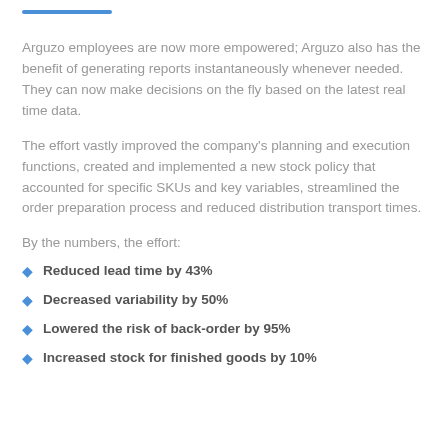Arguzo employees are now more empowered; Arguzo also has the benefit of generating reports instantaneously whenever needed. They can now make decisions on the fly based on the latest real time data.
The effort vastly improved the company's planning and execution functions, created and implemented a new stock policy that accounted for specific SKUs and key variables, streamlined the order preparation process and reduced distribution transport times.
By the numbers, the effort:
Reduced lead time by 43%
Decreased variability by 50%
Lowered the risk of back-order by 95%
Increased stock for finished goods by 10%